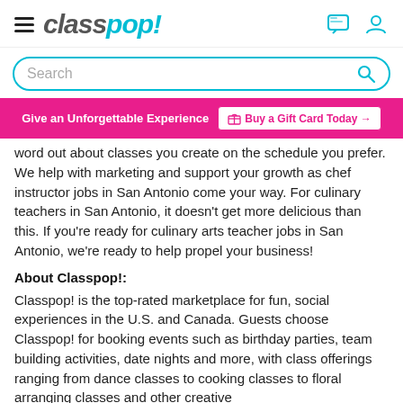classpop!
Search
Give an Unforgettable Experience  Buy a Gift Card Today →
word out about classes you create on the schedule you prefer. We help with marketing and support your growth as chef instructor jobs in San Antonio come your way. For culinary teachers in San Antonio, it doesn't get more delicious than this. If you're ready for culinary arts teacher jobs in San Antonio, we're ready to help propel your business!
About Classpop!:
Classpop! is the top-rated marketplace for fun, social experiences in the U.S. and Canada. Guests choose Classpop! for booking events such as birthday parties, team building activities, date nights and more, with class offerings ranging from dance classes to cooking classes to floral arranging classes and other creative